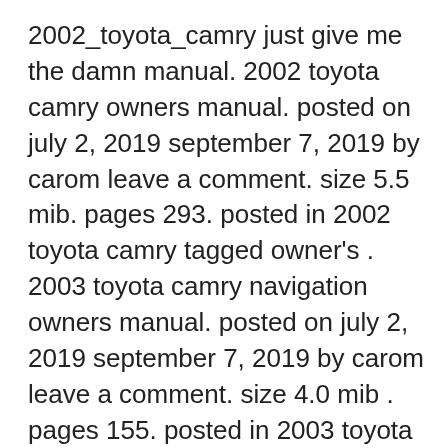2002_toyota_camry just give me the damn manual. 2002 toyota camry owners manual. posted on july 2, 2019 september 7, 2019 by carom leave a comment. size 5.5 mib. pages 293. posted in 2002 toyota camry tagged owner's . 2003 toyota camry navigation owners manual. posted on july 2, 2019 september 7, 2019 by carom leave a comment. size 4.0 mib . pages 155. posted in 2003 toyota camry tagged owner's . 2003 toyota camry owners manual .... It is created on the same platform as used on the toyota camry. 2002 toyota highlander owner's manual year: 2002. make: toyota. model: highlander. size: 4.75 mb. pdf: manual